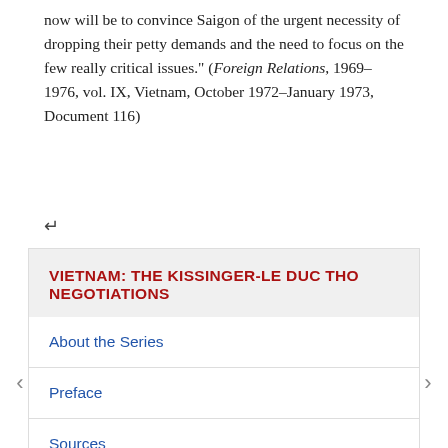now will be to convince Saigon of the urgent necessity of dropping their petty demands and the need to focus on the few really critical issues." (Foreign Relations, 1969–1976, vol. IX, Vietnam, October 1972–January 1973, Document 116)
↵
VIETNAM: THE KISSINGER-LE DUC THO NEGOTIATIONS
About the Series
Preface
Sources
Abbreviations and Terms
Persons
Vietnam: The Kissinger-Le Duc Tho Negotiations, August